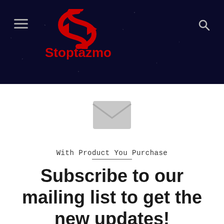[Figure (logo): Stoptazmo website header with logo on dark starry night background, hamburger menu on left, search icon on right]
[Figure (illustration): Grey envelope icon]
With Product You Purchase
Subscribe to our mailing list to get the new updates!
Lorem ipsum dolor sit amet, consectetur.
[Figure (screenshot): Email input field with placeholder 'Enter your Email address' and envelope icon]
[Figure (screenshot): Brown Subscribe button]
Facebook | Twitter | WhatsApp | Telegram | Phone social share bar